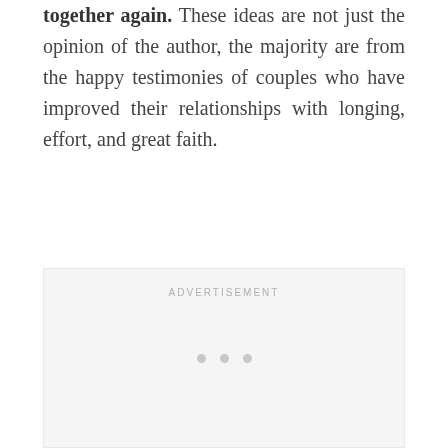together again. These ideas are not just the opinion of the author, the majority are from the happy testimonies of couples who have improved their relationships with longing, effort, and great faith.
[Figure (other): Advertisement placeholder box with 'ADVERTISEMENT' label and three grey loading dots]